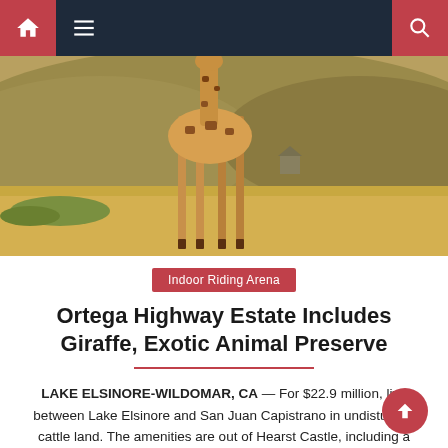[Figure (photo): Giraffe standing in dry open landscape with hills in background]
Indoor Riding Arena
Ortega Highway Estate Includes Giraffe, Exotic Animal Preserve
LAKE ELSINORE-WILDOMAR, CA — For $22.9 million, live between Lake Elsinore and San Juan Capistrano in undisturbed cattle land. The amenities are out of Hearst Castle, including a private fishing lake, exotic animal preserve, and imported fruit and olive trees. Located seven miles northeast of historic San Juan Capistrano, this 1225 acre estate rests quietly [...]